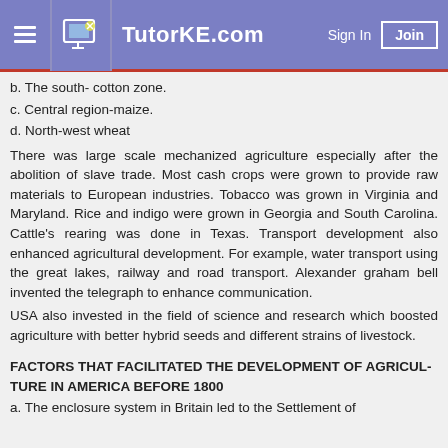TutorKE.com — Sign In | Join
b. The south- cotton zone.
c. Central region-maize.
d. North-west wheat
There was large scale mechanized agriculture especially after the abolition of slave trade. Most cash crops were grown to provide raw materials to European industries. Tobacco was grown in Virginia and Maryland. Rice and indigo were grown in Georgia and South Carolina. Cattle's rearing was done in Texas. Transport development also enhanced agricultural development. For example, water transport using the great lakes, railway and road transport. Alexander graham bell invented the telegraph to enhance communication.
USA also invested in the field of science and research which boosted agriculture with better hybrid seeds and different strains of livestock.
FACTORS THAT FACILITATED THE DEVELOPMENT OF AGRICUL-TURE IN AMERICA BEFORE 1800
a. The enclosure system in Britain led to the Settlement of